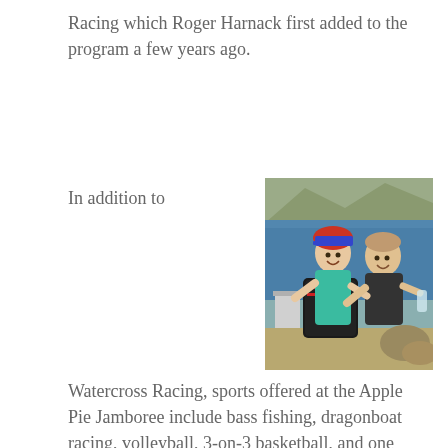Racing which Roger Harnack first added to the program a few years ago.
In addition to
[Figure (photo): Two boys smiling and posing outdoors near a body of water, holding up fishing gear and a bottle. One boy wears an American flag cap and teal shirt, the other wears a dark t-shirt. Rocks and blue water visible in background.]
Watercross Racing, sports offered at the Apple Pie Jamboree include bass fishing, dragonboat racing, volleyball, 3-on-3 basketball, and one of those runs